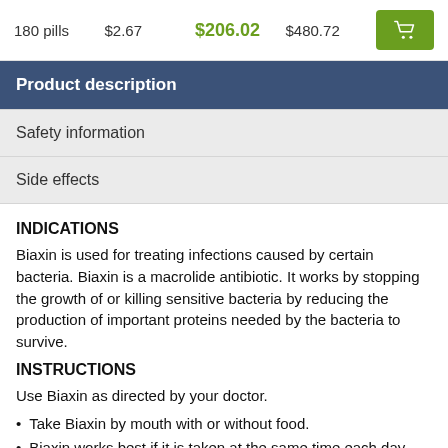| Pills | Per Pill | Price | Retail | Cart |
| --- | --- | --- | --- | --- |
| 180 pills | $2.67 | $206.02 | $480.72 | [cart] |
Product description
Safety information
Side effects
INDICATIONS
Biaxin is used for treating infections caused by certain bacteria. Biaxin is a macrolide antibiotic. It works by stopping the growth of or killing sensitive bacteria by reducing the production of important proteins needed by the bacteria to survive.
INSTRUCTIONS
Use Biaxin as directed by your doctor.
Take Biaxin by mouth with or without food.
Biaxin works best if it is taken at the same time each day.
Continue to take Biaxin even if you feel well.
Do not miss any dose. If you miss a dose of Biaxin, take it as